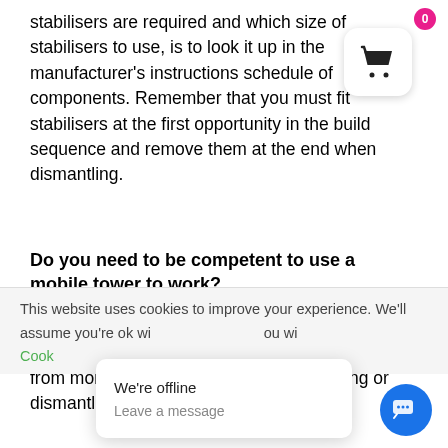stabilisers are required and which size of stabilisers to use, is to look it up in the manufacturer's instructions schedule of components. Remember that you must fit stabilisers at the first opportunity in the build sequence and remove them at the end when dismantling.
Do you need to be competent to use a mobile tower to work?
There is a specific PASMA training course available for persons who will only be working from mobile towers but who are not building or dismantling.
This website uses cookies to improve your experience. We'll assume you're ok wi                              ou wi
We're offline
Leave a message